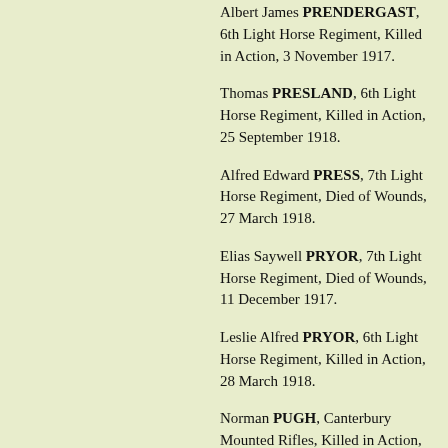Albert James PRENDERGAST, 6th Light Horse Regiment, Killed in Action, 3 November 1917.
Thomas PRESLAND, 6th Light Horse Regiment, Killed in Action, 25 September 1918.
Alfred Edward PRESS, 7th Light Horse Regiment, Died of Wounds, 27 March 1918.
Elias Saywell PRYOR, 7th Light Horse Regiment, Died of Wounds, 11 December 1917.
Leslie Alfred PRYOR, 6th Light Horse Regiment, Killed in Action, 28 March 1918.
Norman PUGH, Canterbury Mounted Rifles, Killed in Action, 30 April 1918.
Walter Victor PULMAN, Auckland Mounted Rifles, Died of Wounds, 17 November 1917.
Arthur Richard QUARMBY, 1st